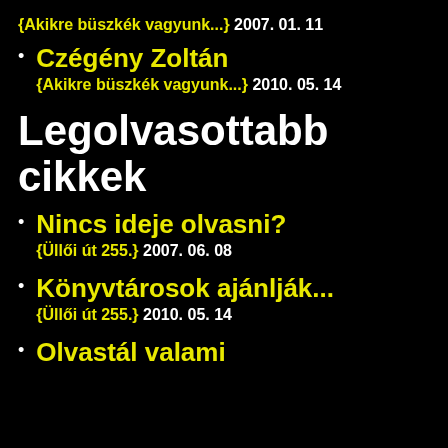{Akikre büszkék vagyunk...} 2007. 01. 11
Czégény Zoltán
{Akikre büszkék vagyunk...} 2010. 05. 14
Legolvasottabb cikkek
Nincs ideje olvasni?
{Üllői út 255.} 2007. 06. 08
Könyvtárosok ajánlják...
{Üllői út 255.} 2010. 05. 14
Olvastál valami